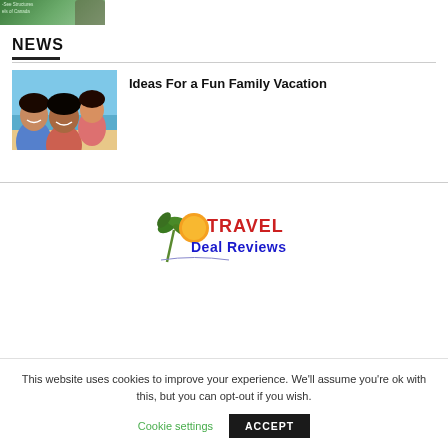[Figure (photo): Partial thumbnail image showing green landscape/structures, partial text reading '-See Structures' and 'els of Canada']
NEWS
[Figure (photo): Smiling family selfie at the beach — three people including children]
Ideas For a Fun Family Vacation
[Figure (logo): Travel Deal Reviews logo with palm trees and orange sun graphic, red 'TRAVEL' text and blue 'Deal Reviews' text]
This website uses cookies to improve your experience. We'll assume you're ok with this, but you can opt-out if you wish.
Cookie settings
ACCEPT